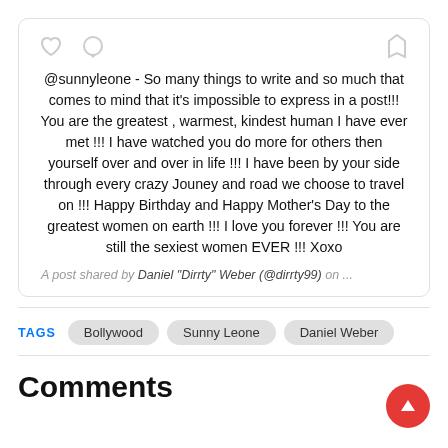@sunnyleone - So many things to write and so much that comes to mind that it's impossible to express in a post!!! You are the greatest , warmest, kindest human I have ever met !!! I have watched you do more for others then yourself over and over in life !!! I have been by your side through every crazy Jouney and road we choose to travel on !!! Happy Birthday and Happy Mother's Day to the greatest women on earth !!! I love you forever !!! You are still the sexiest women EVER !!! Xoxo
A post shared by Daniel "Dirrty" Weber (@dirrty99) on ...
TAGS   Bollywood   Sunny Leone   Daniel Weber
Comments